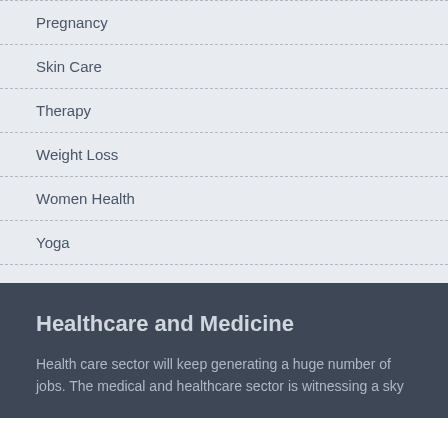Pregnancy
Skin Care
Therapy
Weight Loss
Women Health
Yoga
Healthcare and Medicine
Health care sector will keep generating a huge number of jobs. The medical and healthcare sector is witnessing a sky